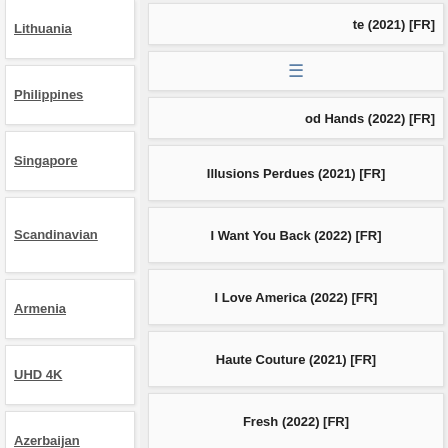Lithuania
Philippines
Singapore
Scandinavian
Armenia
UHD 4K
Azerbaijan
OSN - Qatar ARB
te (2021) [FR]
od Hands (2022) [FR]
Illusions Perdues (2021) [FR]
I Want You Back (2022) [FR]
I Love America (2022) [FR]
Haute Couture (2021) [FR]
Fresh (2022) [FR]
DOG (2022) [FR]
Cyrano (2021) [FR]
English